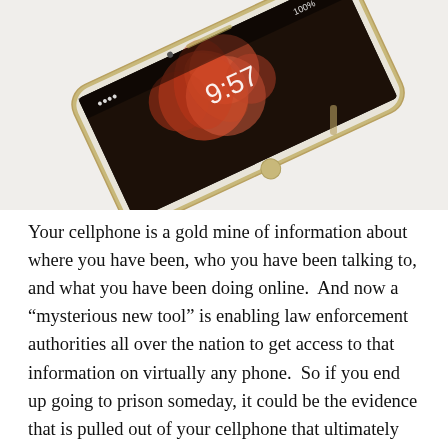[Figure (photo): A gold/white smartphone (iPhone-style) lying at an angle on a white surface, with the screen showing a lock screen with a floral wallpaper and time display.]
Your cellphone is a gold mine of information about where you have been, who you have been talking to, and what you have been doing online.  And now a “mysterious new tool” is enabling law enforcement authorities all over the nation to get access to that information on virtually any phone.  So if you end up going to prison someday, it could be the evidence that is pulled out of your cellphone that ultimately puts you away.  Of course most Americans never even consider that their own cellphones could be systematically gathering evidence against them.  For most of us, cellphones are simply extremely convenient tools that